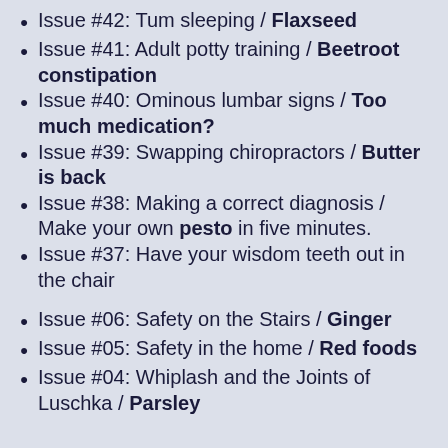Issue #42: Tum sleeping / Flaxseed
Issue #41: Adult potty training / Beetroot constipation
Issue #40: Ominous lumbar signs / Too much medication?
Issue #39: Swapping chiropractors / Butter is back
Issue #38: Making a correct diagnosis / Make your own pesto in five minutes.
Issue #37: Have your wisdom teeth out in the chair
Issue #06: Safety on the Stairs / Ginger
Issue #05: Safety in the home / Red foods
Issue #04: Whiplash and the Joints of Luschka / Parsley